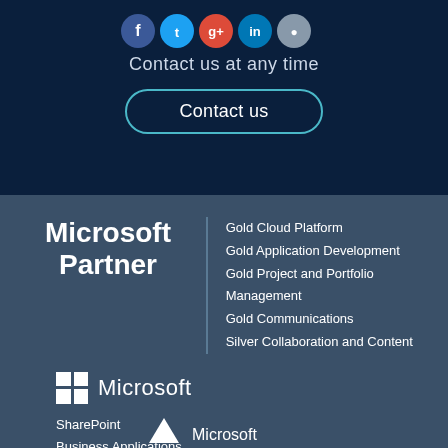[Figure (illustration): Row of five social media icon circles (partially visible at top): blue Facebook, blue Twitter, red/white Google+, blue LinkedIn, grey/white icon]
Contact us at any time
Contact us
[Figure (logo): Microsoft Partner logo with text listing: Gold Cloud Platform, Gold Application Development, Gold Project and Portfolio Management, Gold Communications, Silver Collaboration and Content]
[Figure (logo): Microsoft logo with four-square grid icon and 'Microsoft' text]
SharePoint
Business Applications
Partner Program
Charter Member
[Figure (logo): Partially visible Microsoft logo at bottom of page]